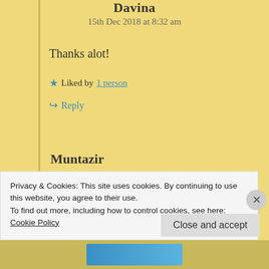Davina
15th Dec 2018 at 8:32 am
Thanks alot!
★ Liked by 1 person
↪ Reply
Muntazir
16th Dec 2018 at 4:38 am
Privacy & Cookies: This site uses cookies. By continuing to use this website, you agree to their use.
To find out more, including how to control cookies, see here: Cookie Policy
Close and accept